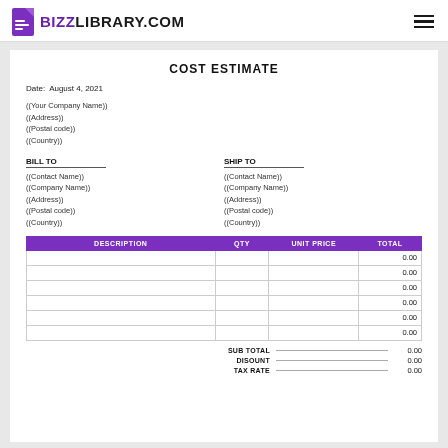BIZZLIBRARY.COM
COST ESTIMATE
Date:  August 4, 2021
((Your Company Name))
((Address))
((Postal code))
((Country))
BILL TO
((Contact Name))
((Company Name))
((Address))
((Postal code))
((Country))
SHIP TO
((Contact Name))
((Company Name))
((Address))
((Postal code))
((Country))
| DESCRIPTION | QTY | UNIT PRICE | TOTAL |
| --- | --- | --- | --- |
|  |  |  | 0.00 |
|  |  |  | 0.00 |
|  |  |  | 0.00 |
|  |  |  | 0.00 |
|  |  |  | 0.00 |
|  |  |  | 0.00 |
SUB TOTAL   0.00
DISCOUNT   0.00
TAX RATE   0.00